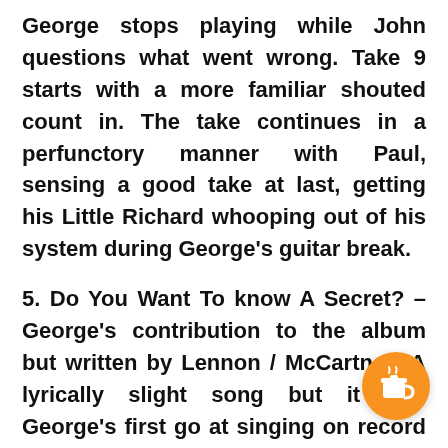George stops playing while John questions what went wrong. Take 9 starts with a more familiar shouted count in. The take continues in a perfunctory manner with Paul, sensing a good take at last, getting his Little Richard whooping out of his system during George's guitar break.
5. Do You Want To know A Secret? – George's contribution to the album but written by Lennon / McCartney. A lyrically slight song but it was George's first go at singing on record & he was against the formidable might of the 2 greatest voices in British
[Figure (illustration): Orange circular button with a coffee cup icon (Buy Me a Coffee widget) in the bottom-right corner]